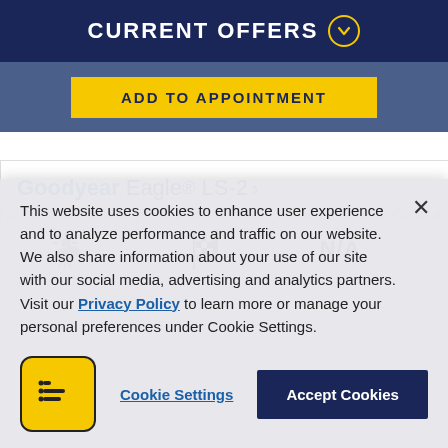CURRENT OFFERS
ADD TO APPOINTMENT
Goodyear Eagle® LS-2
[Figure (infographic): Row of three icons: a sun/cloud weather icon, a checkered racing flag icon, and an N/A text label — representing tire performance ratings]
This website uses cookies to enhance user experience and to analyze performance and traffic on our website. We also share information about your use of our site with our social media, advertising and analytics partners. Visit our Privacy Policy to learn more or manage your personal preferences under Cookie Settings.
[Figure (logo): Yellow speech bubble with lines icon representing cookie settings or chat]
Cookie Settings
Accept Cookies